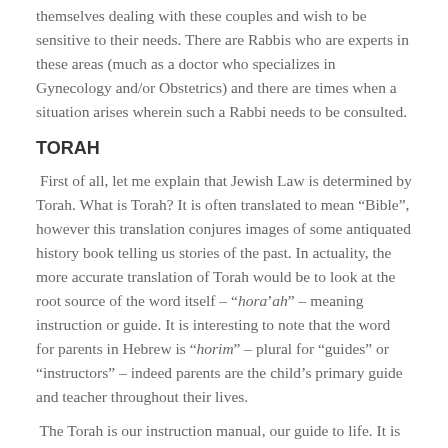themselves dealing with these couples and wish to be sensitive to their needs. There are Rabbis who are experts in these areas (much as a doctor who specializes in Gynecology and/or Obstetrics) and there are times when a situation arises wherein such a Rabbi needs to be consulted.
TORAH
First of all, let me explain that Jewish Law is determined by Torah. What is Torah? It is often translated to mean “Bible”, however this translation conjures images of some antiquated history book telling us stories of the past. In actuality, the more accurate translation of Torah would be to look at the root source of the word itself – “horаʼ” – meaning instruction or guide. It is interesting to note that the word for parents in Hebrew is “horim” – plural for “guides” or “instructors” – indeed parents are the child’s primary guide and teacher throughout their lives.
The Torah is our instruction manual, our guide to life. It is not a history book of ancient stories but rather...